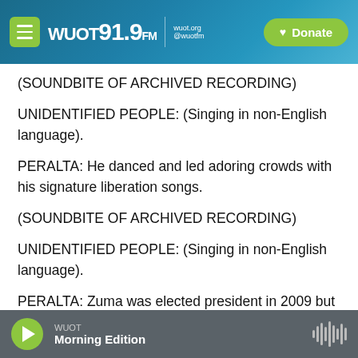WUOT 91.9 FM | wuot.org @wuotfm | Donate
(SOUNDBITE OF ARCHIVED RECORDING)
UNIDENTIFIED PEOPLE: (Singing in non-English language).
PERALTA: He danced and led adoring crowds with his signature liberation songs.
(SOUNDBITE OF ARCHIVED RECORDING)
UNIDENTIFIED PEOPLE: (Singing in non-English language).
PERALTA: Zuma was elected president in 2009 but
WUOT | Morning Edition